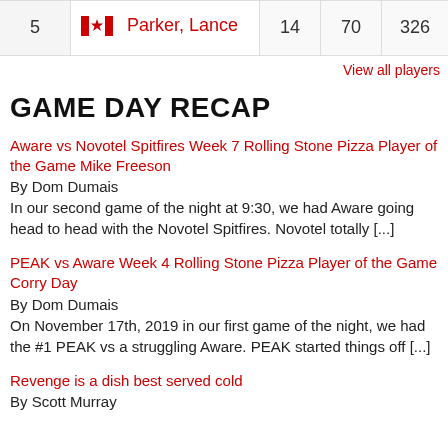| Rank | Player | Col1 | Col2 | Col3 |
| --- | --- | --- | --- | --- |
| 5 | 🇨🇦 Parker, Lance | 14 | 70 | 326 |
View all players
GAME DAY RECAP
Aware vs Novotel Spitfires Week 7 Rolling Stone Pizza Player of the Game Mike Freeson
By Dom Dumais
In our second game of the night at 9:30, we had Aware going head to head with the Novotel Spitfires. Novotel totally [...]
PEAK vs Aware Week 4 Rolling Stone Pizza Player of the Game Corry Day
By Dom Dumais
On November 17th, 2019 in our first game of the night, we had the #1 PEAK vs a struggling Aware. PEAK started things off [...]
Revenge is a dish best served cold
By Scott Murray